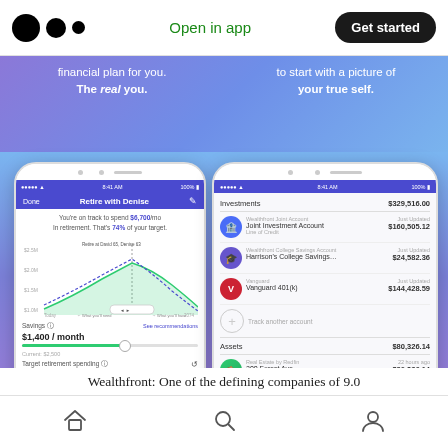Medium logo | Open in app | Get started
financial plan for you. The real you.
to start with a picture of your true self.
[Figure (screenshot): Phone 1: Wealthfront retirement planning app screen showing 'Retire with Denise', chart of savings projection, $1,400/month savings slider, $6,276/month target retirement spending slider.]
[Figure (screenshot): Phone 2: Wealthfront investment account screen showing Investments $329,516.00, Joint Investment Account $160,505.12, Harrison's College Savings $24,582.36, Vanguard 401(k) $144,428.59, Assets $80,326.14, 200 Forest Ave Palo Alto CA 94301 $80,326.14, Liabilities $250,541.36, Mortgage.]
Wealthfront: One of the defining companies of 9.0
Home | Search | Profile